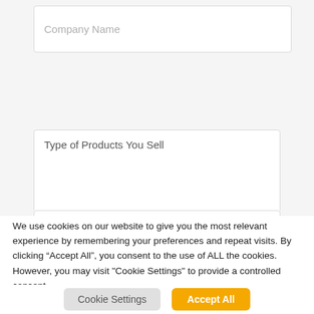[Figure (screenshot): Form input field with placeholder text 'Company Name' — a white rounded rectangle input box on a light gray background]
[Figure (screenshot): Form textarea field with placeholder text 'Type of Products You Sell' — a tall white rounded rectangle textarea with a resize handle in the bottom-right corner, on a light gray background]
[Figure (screenshot): Partial view of another form input field at the bottom, cut off]
We use cookies on our website to give you the most relevant experience by remembering your preferences and repeat visits. By clicking “Accept All”, you consent to the use of ALL the cookies. However, you may visit "Cookie Settings" to provide a controlled consent.
Cookie Settings
Accept All